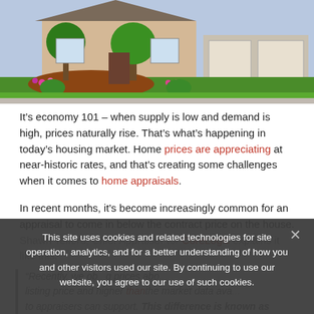[Figure (photo): Exterior photo of a suburban house with green lawn, landscaping with flowers and shrubs, and a garage visible on the right side.]
It’s economy 101 – when supply is low and demand is high, prices naturally rise. That’s what’s happening in today’s housing market. Home prices are appreciating at near-historic rates, and that’s creating some challenges when it comes to home appraisals.
In recent months, it’s become increasingly common for an appraisal to come in below the contract price on the house. Shawn Telford, Chief Appraiser for CoreLogic explains it like th...
This site uses cookies and related technologies for site operation, analytics, and for a better understanding of how you and other visitors used our site. By continuing to use our website, you agree to our use of such cookies.
“Recently, we ob... prices abo... listing price and higher than the market data ava... to appraisers can support. This difference is known as